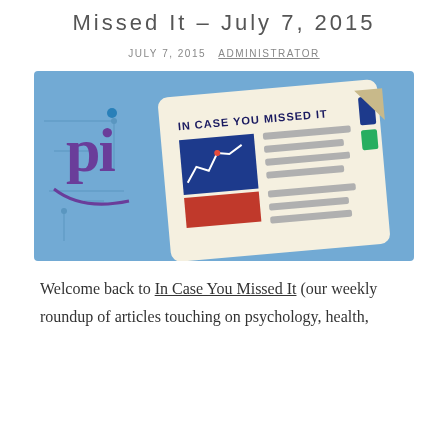Missed It – July 7, 2015
JULY 7, 2015   ADMINISTRATOR
[Figure (illustration): Promotional illustration for 'In Case You Missed It' newsletter feature. Shows a blue background with the 'pi' logo on the left, and a stylized newspaper/document in the center with the text 'IN CASE YOU MISSED IT', a small chart graphic, red and blue rectangles, and grey text lines.]
Welcome back to In Case You Missed It (our weekly roundup of articles touching on psychology, health,